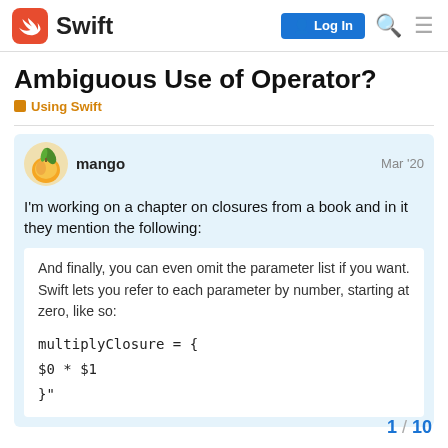Swift — Log In
Ambiguous Use of Operator?
Using Swift
mango   Mar '20
I'm working on a chapter on closures from a book and in it they mention the following:
And finally, you can even omit the parameter list if you want. Swift lets you refer to each parameter by number, starting at zero, like so:

multiplyClosure = {
$0 * $1
}"
1 / 10